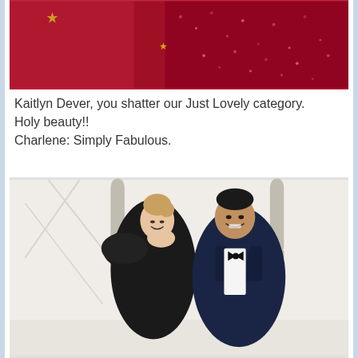[Figure (photo): Partial view of a red/crimson textured fabric or garment with a small gold star emblem, against a red background.]
Kaitlyn Dever, you shatter our Just Lovely category. Holy beauty!!
Charlene: Simply Fabulous.
[Figure (photo): A couple posing at what appears to be the Oscars red carpet. A woman in a black strapless ruffled gown and a man in a navy blue tuxedo with bow tie, both smiling. Oscar statuettes are visible in the background.]